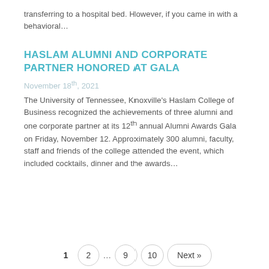transferring to a hospital bed. However, if you came in with a behavioral…
HASLAM ALUMNI AND CORPORATE PARTNER HONORED AT GALA
November 18th, 2021
The University of Tennessee, Knoxville's Haslam College of Business recognized the achievements of three alumni and one corporate partner at its 12th annual Alumni Awards Gala on Friday, November 12. Approximately 300 alumni, faculty, staff and friends of the college attended the event, which included cocktails, dinner and the awards…
1  2  …  9  10  Next »